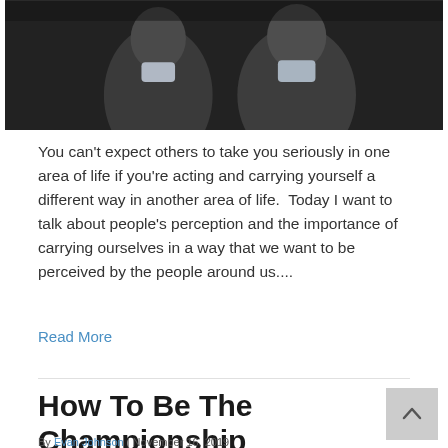[Figure (photo): Two men in suits/formal attire, dark background, partial view of their faces and shoulders]
You can't expect others to take you seriously in one area of life if you're acting and carrying yourself a different way in another area of life.  Today I want to talk about people's perception and the importance of carrying ourselves in a way that we want to be perceived by the people around us....
Read More
How To Be The Championship Leader You Want To Be
By Evan Johnson | November 16, 2019